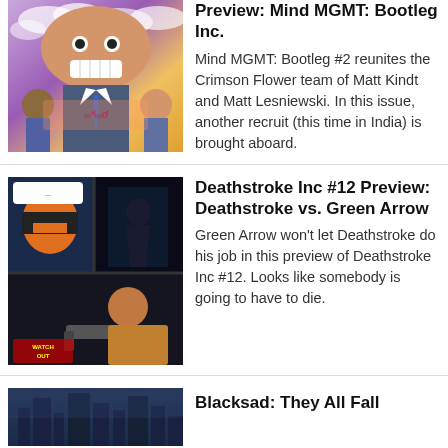[Figure (illustration): Comic book cover art for Mind MGMT Bootleg #2 featuring colorful characters including a man in a suit with an exaggerated smile and other figures with Indian-themed decorative text]
Preview: Mind MGMT: Bootleg Inc.
Mind MGMT: Bootleg #2 reunites the Crimson Flower team of Matt Kindt and Matt Lesniewski. In this issue, another recruit (this time in India) is brought aboard.
[Figure (illustration): Comic book interior art for Deathstroke Inc #12 showing Deathstroke in orange and black armor in combat panels with Green Arrow]
Deathstroke Inc #12 Preview: Deathstroke vs. Green Arrow
Green Arrow won't let Deathstroke do his job in this preview of Deathstroke Inc #12. Looks like somebody is going to have to die.
[Figure (illustration): Partial view of Blacksad comic book art showing a cityscape]
Blacksad: They All Fall